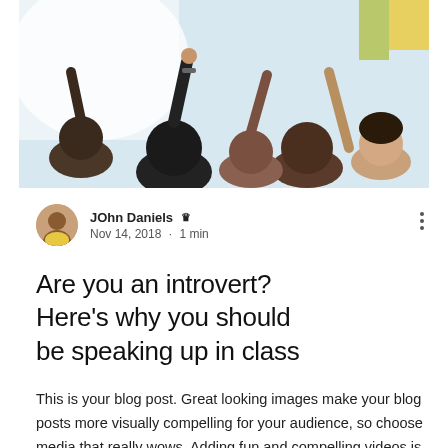[Figure (photo): Students in a classroom with hands raised, viewed from behind, bright classroom setting]
JOhn Daniels 👑
Nov 14, 2018 · 1 min
Are you an introvert? Here's why you should be speaking up in class
This is your blog post. Great looking images make your blog posts more visually compelling for your audience, so choose media that really wows. Adding fun and compelling videos is another great way to engage your audience and keep them coming